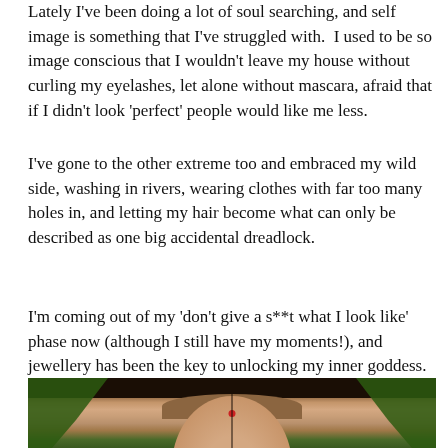Lately I've been doing a lot of soul searching, and self image is something that I've struggled with.  I used to be so image conscious that I wouldn't leave my house without curling my eyelashes, let alone without mascara, afraid that if I didn't look 'perfect' people would like me less.
I've gone to the other extreme too and embraced my wild side, washing in rivers, wearing clothes with far too many holes in, and letting my hair become what can only be described as one big accidental dreadlock.
I'm coming out of my 'don't give a s**t what I look like' phase now (although I still have my moments!), and jewellery has been the key to unlocking my inner goddess.
[Figure (photo): Photo of a young woman with a red bindi on her forehead, brown hair, surrounded by green foliage in the background. A vertical dividing line is visible in the middle of the image.]